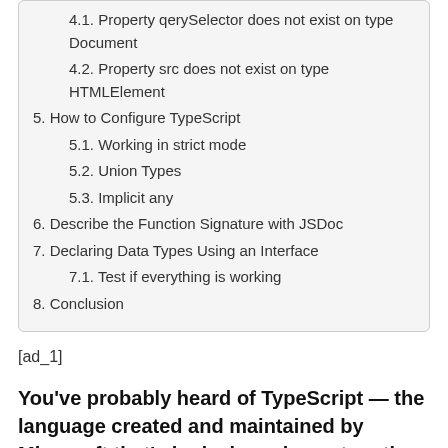4.1. Property qerySelector does not exist on type Document
4.2. Property src does not exist on type HTMLElement
5. How to Configure TypeScript
5.1. Working in strict mode
5.2. Union Types
5.3. Implicit any
6. Describe the Function Signature with JSDoc
7. Declaring Data Types Using an Interface
7.1. Test if everything is working
8. Conclusion
[ad_1]
You've probably heard of TypeScript — the language created and maintained by Microsoft that's had a huge impact on the